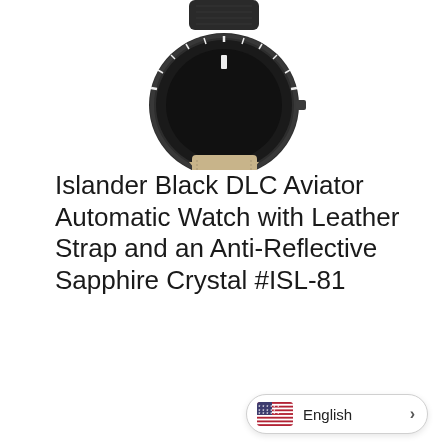[Figure (photo): Partial view of a black DLC aviator automatic watch with leather strap, showing the upper portion of the watch case and strap against a white background.]
Islander Black DLC Aviator Automatic Watch with Leather Strap and an Anti-Reflective Sapphire Crystal #ISL-81
Category: Islander
| Tab |
| --- |
| Description |
| Reviews (0) |